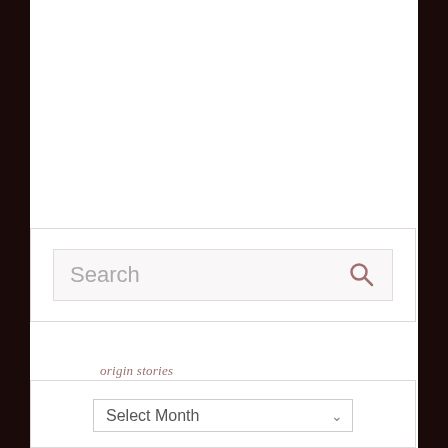[Figure (screenshot): Search widget with a search input box containing placeholder text 'Search' and a search icon (magnifying glass) on the right side, inside a white bordered container]
origin stories
[Figure (screenshot): A dropdown widget labeled 'Select Month' with a downward chevron arrow, inside a white bordered container]